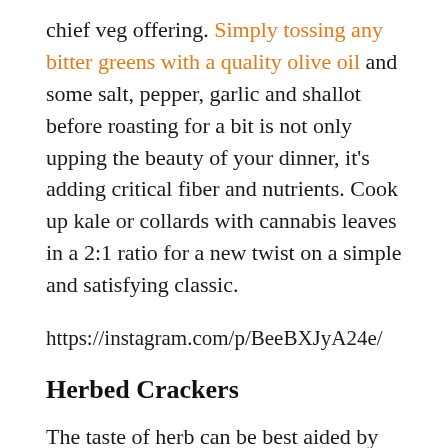chief veg offering. Simply tossing any bitter greens with a quality olive oil and some salt, pepper, garlic and shallot before roasting for a bit is not only upping the beauty of your dinner, it's adding critical fiber and nutrients. Cook up kale or collards with cannabis leaves in a 2:1 ratio for a new twist on a simple and satisfying classic.
https://instagram.com/p/BeeBXJyA24e/
Herbed Crackers
The taste of herb can be best aided by more herbs. Chopping up some rosemary, cannabis, thyme, and tarragon to use in baked crackers will make an